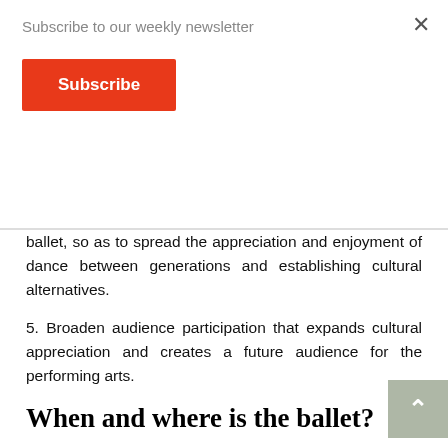Subscribe to our weekly newsletter
Subscribe
ballet, so as to spread the appreciation and enjoyment of dance between generations and establishing cultural alternatives.
5. Broaden audience participation that expands cultural appreciation and creates a future audience for the performing arts.
When and where is the ballet?
From December 4th – 11th 2011 (though it started on the 1st) you can enjoy this wonderful cultural event in the National Theatre on Second Avenue (across from the Gran Hotel Costa Rica)